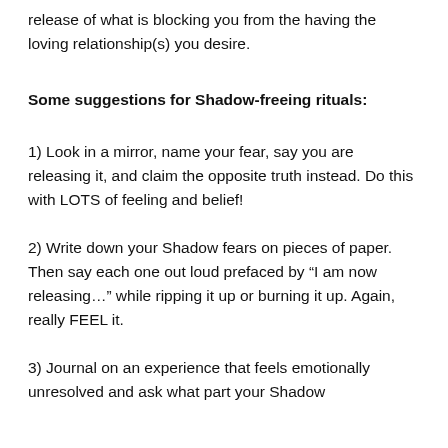release of what is blocking you from the having the loving relationship(s) you desire.
Some suggestions for Shadow-freeing rituals:
1) Look in a mirror, name your fear, say you are releasing it, and claim the opposite truth instead. Do this with LOTS of feeling and belief!
2) Write down your Shadow fears on pieces of paper. Then say each one out loud prefaced by “I am now releasing…” while ripping it up or burning it up. Again, really FEEL it.
3) Journal on an experience that feels emotionally unresolved and ask what part your Shadow